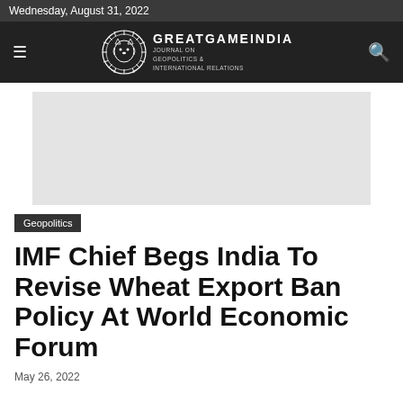Wednesday, August 31, 2022
[Figure (logo): GreatGameIndia Journal on Geopolitics & International Relations logo with lion emblem in navigation header]
[Figure (other): Advertisement banner placeholder (grey rectangle)]
Geopolitics
IMF Chief Begs India To Revise Wheat Export Ban Policy At World Economic Forum
May 26, 2022